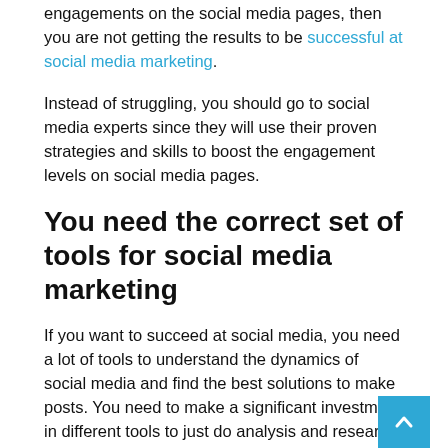engagements on the social media pages, then you are not getting the results to be successful at social media marketing.
Instead of struggling, you should go to social media experts since they will use their proven strategies and skills to boost the engagement levels on social media pages.
You need the correct set of tools for social media marketing
If you want to succeed at social media, you need a lot of tools to understand the dynamics of social media and find the best solutions to make posts. You need to make a significant investment in different tools to just do analysis and research, whereas if you hire a social media expert, then your investment becomes quite low since they own most of the tools.
Summary
Adding a new team member to your marketing team can always